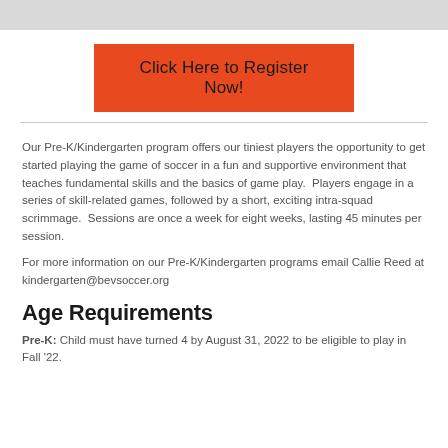[Figure (other): Gray banner bar at top of page]
Click Here to Register Now!
Our Pre-K/Kindergarten program offers our tiniest players the opportunity to get started playing the game of soccer in a fun and supportive environment that teaches fundamental skills and the basics of game play.  Players engage in a series of skill-related games, followed by a short, exciting intra-squad scrimmage.  Sessions are once a week for eight weeks, lasting 45 minutes per session.
For more information on our Pre-K/Kindergarten programs email Callie Reed at kindergarten@bevsoccer.org
Age Requirements
Pre-K: Child must have turned 4 by August 31, 2022 to be eligible to play in Fall '22.